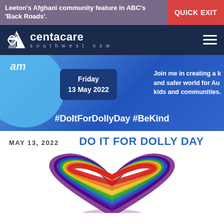Leeton's Afghani community feature in ABC's 'Back Roads'.
QUICK EXIT
[Figure (logo): Centacare Southwest NSW logo with white text on dark navy background and hamburger menu icon]
[Figure (illustration): Do It For Dolly Day promotional banner: blue gradient background with 'Friday 13 May 2022' in a dark box, '#DoItForDollyDay #BeKind' hashtags, and partial text 'Join me in creating a kinder and safer world for Aus kids and communities.']
MAY 13, 2022
DO IT FOR DOLLY DAY
[Figure (illustration): Partial rainbow heart illustration in red, orange, yellow, green, blue, indigo, and violet/purple stripes arranged in a heart shape on white background]